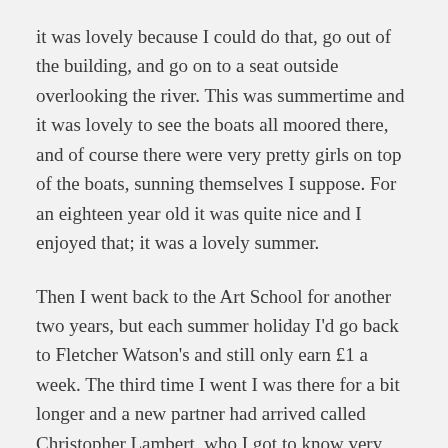it was lovely because I could do that, go out of the building, and go on to a seat outside overlooking the river. This was summertime and it was lovely to see the boats all moored there, and of course there were very pretty girls on top of the boats, sunning themselves I suppose. For an eighteen year old it was quite nice and I enjoyed that; it was a lovely summer.
Then I went back to the Art School for another two years, but each summer holiday I'd go back to Fletcher Watson's and still only earn £1 a week. The third time I went I was there for a bit longer and a new partner had arrived called Christopher Lambert, who I got to know very well. He eventually formed a new firm called Lambert Scott and Innes, known as